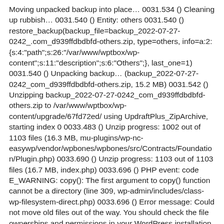Moving unpacked backup into place… 0031.534 () Cleaning up rubbish… 0031.540 () Entity: others 0031.540 () restore_backup(backup_file=backup_2022-07-27-0242_.com_d939ffdbdbfd-others.zip, type=others, info=a:2:{s:4:"path";s:26:"/var/www/wptbox/wp-content";s:11:"description";s:6:"Others";}, last_one=1) 0031.540 () Unpacking backup… (backup_2022-07-27-0242_com_d939ffdbdbfd-others.zip, 15.2 MB) 0031.542 () Unzipping backup_2022-07-27-0242_com_d939ffdbdbfd-others.zip to /var/www/wptbox/wp-content/upgrade/67fd72ed/ using UpdraftPlus_ZipArchive, starting index 0 0033.483 () Unzip progress: 1002 out of 1103 files (16.3 MB, mu-plugins/wp-nc-easywp/vendor/wpbones/wpbones/src/Contracts/Foundation/Plugin.php) 0033.690 () Unzip progress: 1103 out of 1103 files (16.7 MB, index.php) 0033.696 () PHP event: code E_WARNING: copy(): The first argument to copy() function cannot be a directory (line 309, wp-admin/includes/class-wp-filesystem-direct.php) 0033.696 () Error message: Could not move old files out of the way. You should check the file ownerships and permissions in your WordPress installation